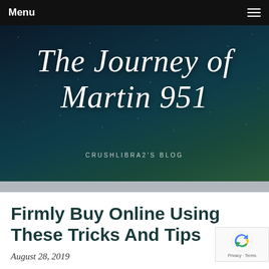Menu
[Figure (screenshot): Blog header banner with dark starry night sky background showing the blog title 'The Journey of Martin 951' in large cursive white text, with 'CRUSHLIBRA2'S BLOG' as a subtitle beneath in small spaced capitals.]
Firmly Buy Online Using These Tricks And Tips
August 28, 2019